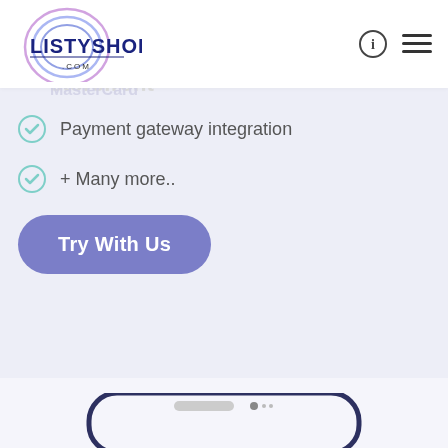[Figure (logo): ListyShop.com logo with circular arc design in purple/pink gradient and bold navy blue text LISTYSHOP .COM]
[Figure (infographic): Navigation icons: info circle icon and hamburger menu icon on the right side of header]
Payment gateway integration
+ Many more..
[Figure (other): Try With Us button with rounded pill shape in medium purple/lavender color]
[Figure (other): Green WhatsApp floating action button with WhatsApp logo icon]
[Figure (illustration): Bottom portion of a smartphone/phone outline illustration in dark navy blue border]